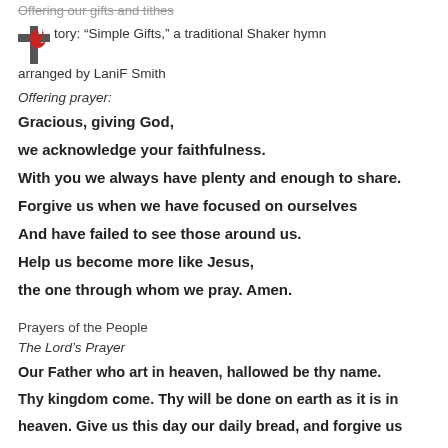Offering our gifts and tithes
tory: “Simple Gifts,” a traditional Shaker hymn arranged by LaniF Smith
Offering prayer:
Gracious, giving God,
we acknowledge your faithfulness.
With you we always have plenty and enough to share.
Forgive us when we have focused on ourselves
And have failed to see those around us.
Help us become more like Jesus,
the one through whom we pray. Amen.
Prayers of the People
The Lord’s Prayer
Our Father who art in heaven, hallowed be thy name. Thy kingdom come. Thy will be done on earth as it is in heaven. Give us this day our daily bread, and forgive us